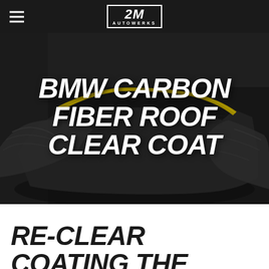2M Autowerks
[Figure (photo): Dark automotive workshop photo showing a BMW with yellow accent trim, carbon fiber roof exposed, draped in a protective cover/sheet, taken from above at an angle. Dark moody lighting.]
BMW CARBON FIBER ROOF CLEAR COAT
RE-CLEAR COATING THE